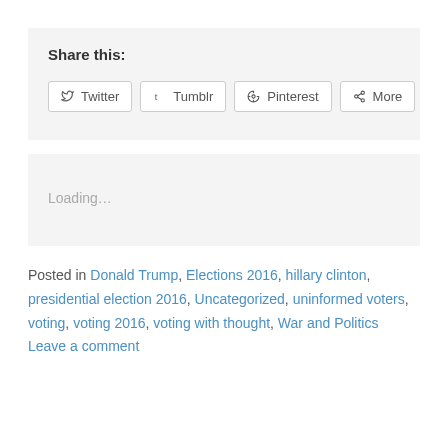Share this:
[Figure (screenshot): Social share buttons: Twitter, Tumblr, Pinterest, More]
Loading…
Posted in Donald Trump, Elections 2016, hillary clinton, presidential election 2016, Uncategorized, uninformed voters, voting, voting 2016, voting with thought, War and Politics   Leave a comment